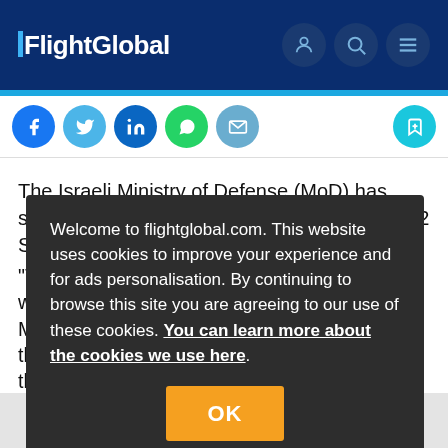FlightGlobal
[Figure (screenshot): Social sharing buttons: Facebook, Twitter, LinkedIn, WhatsApp, Email; and a bookmark button on the right]
The Israeli Ministry of Defense (MoD) has signed agreements with the USA to acquire 12 Sikorsky CH-53K heavy-lift he...
"T... w... M... th... d th...
Welcome to flightglobal.com. This website uses cookies to improve your experience and for ads personalisation. By continuing to browse this site you are agreeing to our use of these cookies. You can learn more about the cookies we use here.
OK